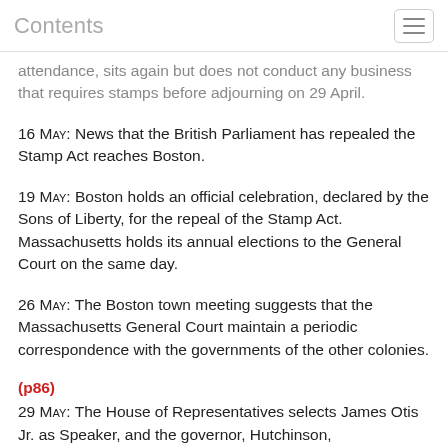Contents
attendance, sits again but does not conduct any business that requires stamps before adjourning on 29 April.
16 May: News that the British Parliament has repealed the Stamp Act reaches Boston.
19 May: Boston holds an official celebration, declared by the Sons of Liberty, for the repeal of the Stamp Act. Massachusetts holds its annual elections to the General Court on the same day.
26 May: The Boston town meeting suggests that the Massachusetts General Court maintain a periodic correspondence with the governments of the other colonies.
(p86)
29 May: The House of Representatives selects James Otis Jr. as Speaker, and the governor, Hutchinson, orders…